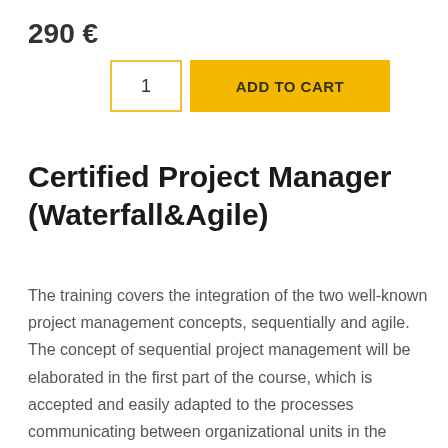290 €
1  ADD TO CART
Certified Project Manager (Waterfall&Agile)
The training covers the integration of the two well-known project management concepts, sequentially and agile. The concept of sequential project management will be elaborated in the first part of the course, which is accepted and easily adapted to the processes communicating between organizational units in the company. In addition, the course will deal with the agile concept of project management where students will be introduced to the terminology and techniques used in this